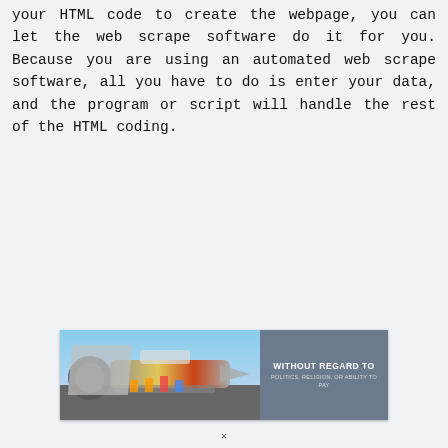your HTML code to create the webpage, you can let the web scrape software do it for you. Because you are using an automated web scrape software, all you have to do is enter your data, and the program or script will handle the rest of the HTML coding.
[Figure (photo): Advertisement banner showing an airplane being loaded with cargo on the left side, and a dark gray box on the right with text 'WITHOUT REGARD TO' and smaller text 'POLITICS, RELIGION, OR ABILITY TO PAY'.]